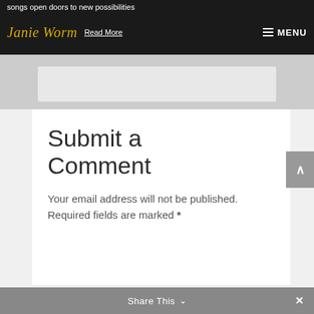songs open doors to new possibilities
[Figure (logo): Janie Worm logo in gold italic script font on dark background]
Read More
MENU
Submit a Comment
Your email address will not be published. Required fields are marked *
Share This